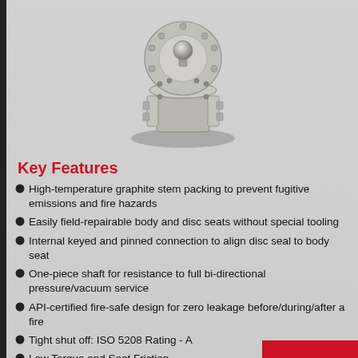[Figure (photo): Industrial butterfly valve component, metallic silver/chrome finish, viewed from above/front, showing disc, shaft, and mounting flanges on grey background]
Key Features
High-temperature graphite stem packing to prevent fugitive emissions and fire hazards
Easily field-repairable body and disc seats without special tooling
Internal keyed and pinned connection to align disc seal to body seat
One-piece shaft for resistance to full bi-directional pressure/vacuum service
API-certified fire-safe design for zero leakage before/during/after a fire
Tight shut off: ISO 5208 Rating - A
Low Torque and Seat Friction
Lightweight compared to ball, plug, globe, and gate valves of the same size